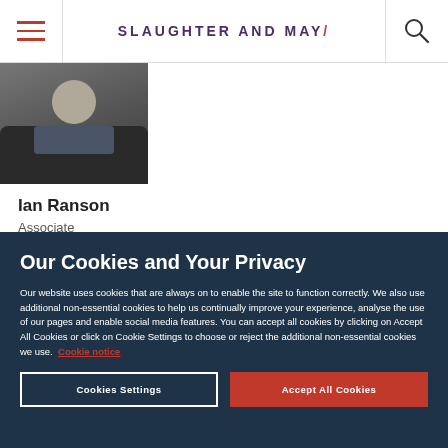Slaughter and May
[Figure (photo): Professional headshot of Ian Ranson, a man in a dark suit with a tie]
Ian Ranson
Associate
Our Cookies and Your Privacy
Our website uses cookies that are always on to enable the site to function correctly. We also use additional non-essential cookies to help us continually improve your experience, analyse the use of our pages and enable social media features. You can accept all cookies by clicking on Accept All Cookies or click on Cookie Settings to choose or reject the additional non-essential cookies we use. Cookie notice
Cookies Settings
Accept All Cookies